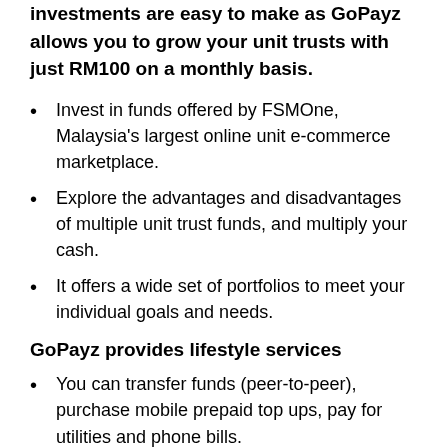investments are easy to make as GoPayz allows you to grow your unit trusts with just RM100 on a monthly basis.
Invest in funds offered by FSMOne, Malaysia's largest online unit e-commerce marketplace.
Explore the advantages and disadvantages of multiple unit trust funds, and multiply your cash.
It offers a wide set of portfolios to meet your individual goals and needs.
GoPayz provides lifestyle services
You can transfer funds (peer-to-peer), purchase mobile prepaid top ups, pay for utilities and phone bills.